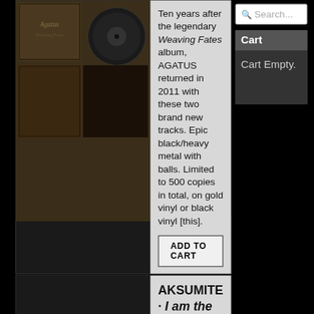[Figure (photo): Photo of an album or record with dark brown/sepia artwork and a vinyl record visible]
Ten years after the legendary Weaving Fates album, AGATUS returned in 2011 with these two brand new tracks. Epic black/heavy metal with balls. Limited to 500 copies in total, on gold vinyl or black vinyl [this].
ADD TO CART
AKSUMITE · I am the Green-Eyed Hyenas · $7
7" · (Colloquial Sound Recordings)
LAST COPY!
Search...
Cart
Cart Empty.